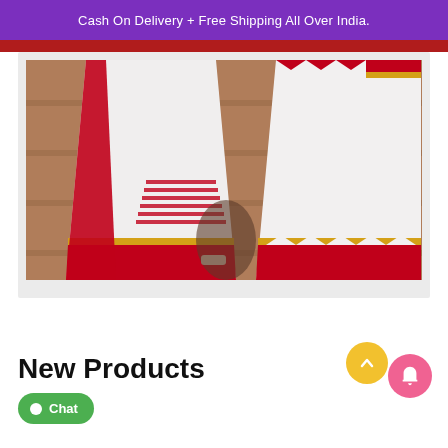Cash On Delivery + Free Shipping All Over India.
[Figure (photo): Photo of white Indian sarees with red and gold decorative borders displayed on stone steps]
New Products
Chat